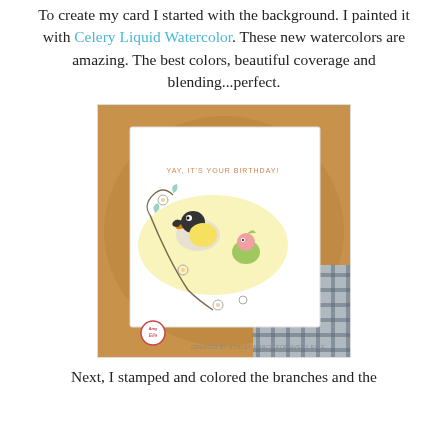To create my card I started with the background. I painted it with Celery Liquid Watercolor. These new watercolors are amazing. The best colors, beautiful coverage and blending...perfect.
[Figure (photo): A handmade birthday card featuring two illustrated birds (a toucan and a small green parrot) surrounded by stamped and colored floral branches on a yellow watercolor background. The card reads 'YAY, IT'S YOUR BIRTHDAY!' in orange text. The card is displayed on a wooden surface with a plaid fabric background. A circular logo reads 'Avery Elle' and the bottom caption says 'CREATED BY ASHLEY MARCU FOR AVERY ELLE'.]
Next, I stamped and colored the branches and the